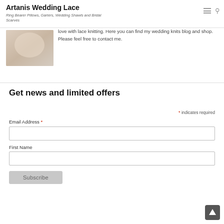Artanis Wedding Lace
Ring Bearer Pillows, Garters, Wedding Shawls and Bridal Scarves
love with lace knitting. Here you can find my wedding knits blog and shop. Please feel free to contact me.
Get news and limited offers
* indicates required
Email Address *
First Name
Subscribe